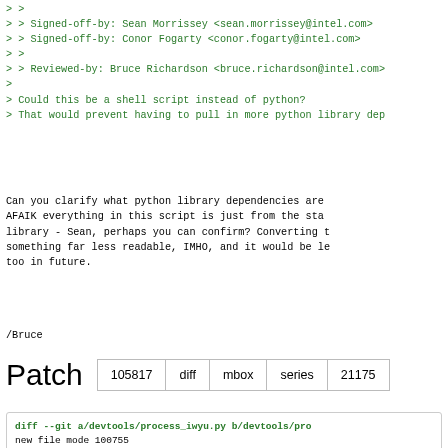> >
> > Signed-off-by: Sean Morrissey <sean.morrissey@intel.com>
> > Signed-off-by: Conor Fogarty <conor.fogarty@intel.com>
> >
> > Reviewed-by: Bruce Richardson <bruce.richardson@intel.com>
>
> Could this be a shell script instead of python?
> That would prevent having to pull in more python library dep
Can you clarify what python library dependencies are
AFAIK everything in this script is just from the sta
library - Sean, perhaps you can confirm? Converting t
something far less readable, IMHO, and it would be le
too in future.
/Bruce
|  | 105817 | diff | mbox | series | 21175 |
| --- | --- | --- | --- | --- | --- |
diff --git a/devtools/process_iwyu.py b/devtools/pro
new file mode 100755
index 0000000000..50f3d4c5c7
--- /dev/null
+++ b/devtools/process_iwyu.py
@@ -0,0 +1,109 @@
+#!/usr/bin/env python3
+# SPDX-License-Identifier: BSD-3-Clause
+# Copyright(c) 2021 Intel Corporation